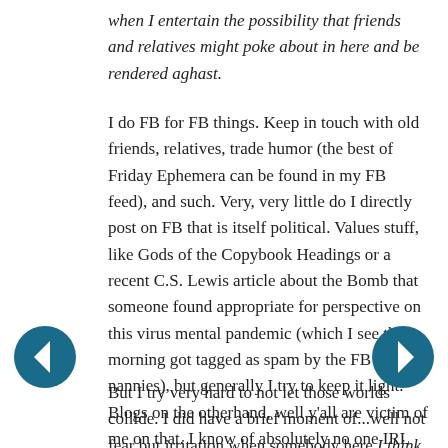when I entertain the possibility that friends and relatives might poke about in here and be rendered aghast.
I do FB for FB things. Keep in touch with old friends, relatives, trade humor (the best of Friday Ephemera can be found in my FB feed), and such. Very, very little do I directly post on FB that is itself political. Values stuff, like Gods of the Copybook Headings or a recent C.S. Lewis article about the Bomb that someone found appropriate for perspective on this virus mental pandemic (which I see this morning got tagged as spam by the FB nannies), but generally I try to keep it light. Blogs on the otherhand, well y'all are victim of me on that. I know of absolutely no one IRL who has ever mentioned ever commenting on a blog. And blogs being more anonymous-ish, I'm OK with that.
But I try very hard to not let those worlds collide. I did have a brief moment of...well not fear but irritation when somebody here I think used info available here to root out my FB persona. I may have overreacted to that but I don't
[Figure (other): Left navigation arrow button (dark teal circle with white left-pointing arrow)]
[Figure (other): Right navigation arrow button (dark teal circle with white right-pointing arrow)]